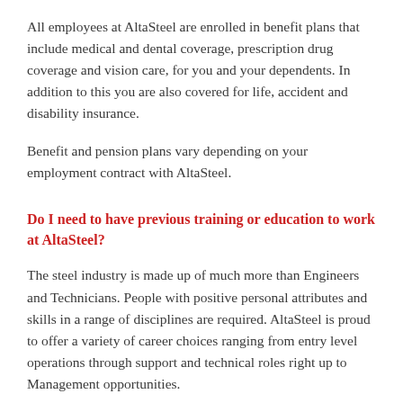All employees at AltaSteel are enrolled in benefit plans that include medical and dental coverage, prescription drug coverage and vision care, for you and your dependents. In addition to this you are also covered for life, accident and disability insurance.
Benefit and pension plans vary depending on your employment contract with AltaSteel.
Do I need to have previous training or education to work at AltaSteel?
The steel industry is made up of much more than Engineers and Technicians. People with positive personal attributes and skills in a range of disciplines are required. AltaSteel is proud to offer a variety of career choices ranging from entry level operations through support and technical roles right up to Management opportunities.